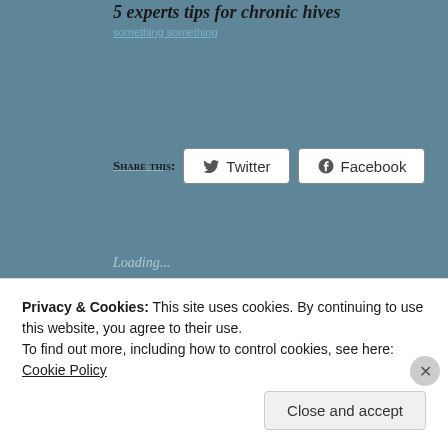5 experts tips for chronic hives
Share this:
Twitter  Facebook
Loading...
Related
Frugal Me Fridays- The Food Processor Investment
Pumpkin Cheesecake
April 18, 2012
In "cheesecake"
Privacy & Cookies: This site uses cookies. By continuing to use this website, you agree to their use.
To find out more, including how to control cookies, see here: Cookie Policy
Close and accept